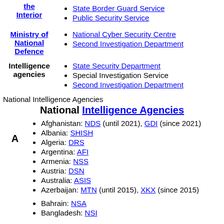| Ministry/Agency | Sub-agencies |
| --- | --- |
| the Interior | State Border Guard Service
Public Security Service |
| Ministry of National Defence | National Cyber Security Centre
Second Investigation Department |
| Intelligence agencies | State Security Department
Special Investigation Service
Second Investigation Department |
National Intelligence Agencies
National Intelligence Agencies
Afghanistan: NDS (until 2021), GDI (since 2021)
Albania: SHISH
Algeria: DRS
Argentina: AFI
Armenia: NSS
Austria: DSN
Australia: ASIS
Azerbaijan: MTN (until 2015), XKX (since 2015)
Bahrain: NSA
Bangladesh: NSI